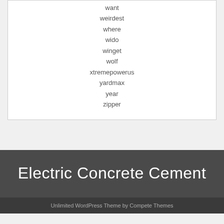want
weirdest
where
wido
winget
wolf
xtremepowerus
yardmax
year
zipper
Electric Concrete Cement
Unlimited WordPress Theme by Compete Themes